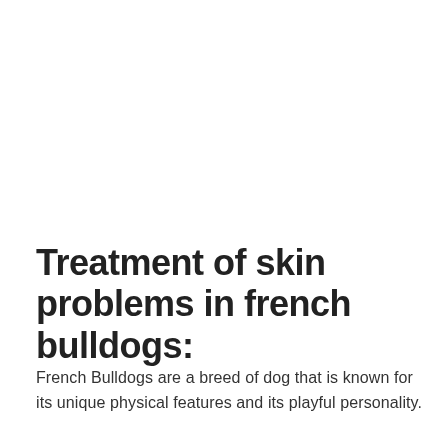Treatment of skin problems in french bulldogs:
French Bulldogs are a breed of dog that is known for its unique physical features and its playful personality.